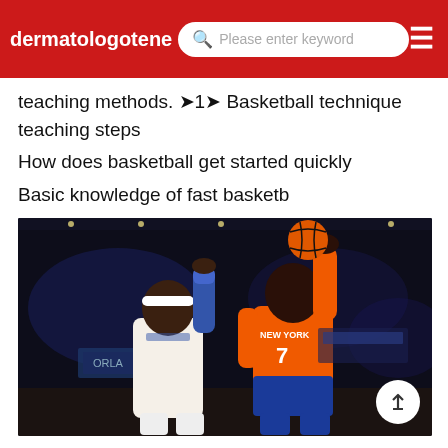dermatologotene  Please enter keyword
teaching methods. ①1① Basketball technique teaching steps
How does basketball get started quickly
Basic knowledge of fast basketb
[Figure (photo): NBA basketball game photo showing New York Knicks player #7 in orange uniform shooting over a defender in white/blue uniform, indoor arena with dark background]
all: first, before learning to play basketball, you must practice